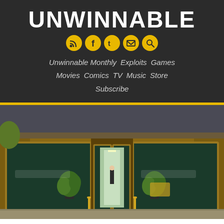UNWINNABLE
Unwinnable Monthly   Exploits   Games   Movies   Comics   TV   Music   Store   Subscribe
[Figure (screenshot): Video game screenshot showing the exterior of a bank building with wooden facade, large glass doors, potted plants, and a figure visible inside the entrance.]
Robbing Banks